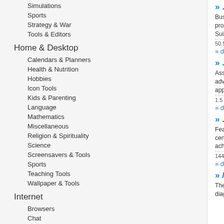Simulations
Sports
Strategy & War
Tools & Editors
Home & Desktop
Calendars & Planners
Health & Nutrition
Hobbies
Icon Tools
Kids & Parenting
Language
Mathematics
Miscellaneous
Religion & Spirituality
Science
Screensavers & Tools
Sports
Teaching Tools
Wallpaper & Tools
Internet
Browsers
Chat
Communications
Dial-up & Connectivity
Download Managers
Email
File Sharing
» .NET Dash
Business decisi... problem is data v... Suite. This produ...
50.5 MB |Sharewa...
» details
» .NET Link
Assembly linking... advantages for y... application effec...
1.5 MB |Shareware
» details
» .WizQuote
Feature rich quo... certain targets a... achievements ca...
1440KB |Sharewa...
» details
» /Developm
The ExLookupD... diagnosing, trou...